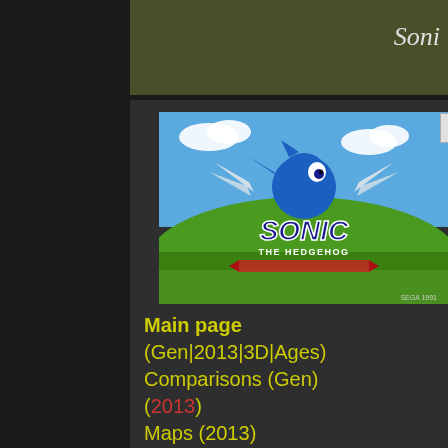Sonic
[Figure (screenshot): Sonic the Hedgehog game title screen showing Sonic character with wings logo against blue sky and green hill background]
Main page
(Gen|2013|3D|Ages)
Comparisons (Gen)
(2013)
Maps (2013)
Achievements
Manuals
Promotional material
Magazine articles (Gen)
Video coverage
[Figure (screenshot): Green Hill Zone gameplay screenshot showing Sonic running on checkered ground with score, time and rings display]
Green Hill
[Figure (screenshot): Star Light Zone gameplay screenshot showing dark blue/green level with score 0, time 0:29, rings 0]
Star Light